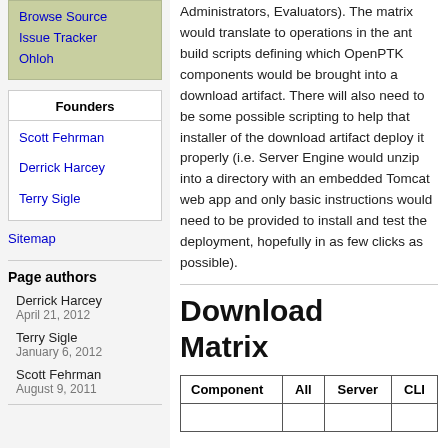Browse Source
Issue Tracker
Ohloh
Founders
Scott Fehrman
Derrick Harcey
Terry Sigle
Sitemap
Page authors
Derrick Harcey
April 21, 2012
Terry Sigle
January 6, 2012
Scott Fehrman
August 9, 2011
Administrators, Evaluators). The matrix would translate to operations in the ant build scripts defining which OpenPTK components would be brought into a download artifact. There will also need to be some possible scripting to help that installer of the download artifact deploy it properly (i.e. Server Engine would unzip into a directory with an embedded Tomcat web app and only basic instructions would need to be provided to install and test the deployment, hopefully in as few clicks as possible).
Download Matrix
| Component | All | Server | CLI |
| --- | --- | --- | --- |
|  |  |  |  |